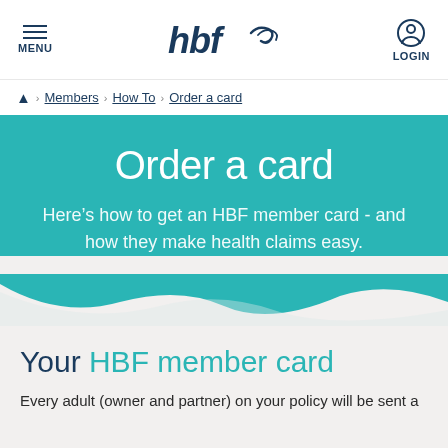MENU | hbf | LOGIN
▲ › Members › How To › Order a card
Order a card
Here's how to get an HBF member card - and how they make health claims easy.
Your HBF member card
Every adult (owner and partner) on your policy will be sent a